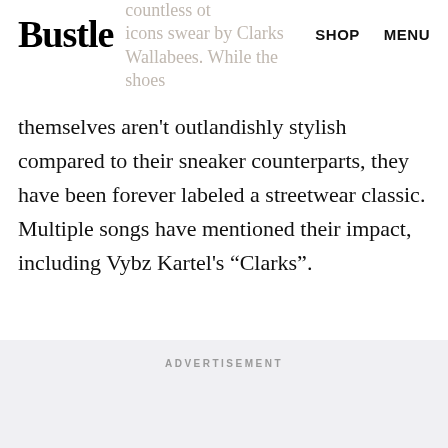Bustle  SHOP  MENU
Drake, MF Doom, and countless other icons swear by Clarks Wallabees. While the shoes themselves aren't outlandishly stylish compared to their sneaker counterparts, they have been forever labeled a streetwear classic. Multiple songs have mentioned their impact, including Vybz Kartel's “Clarks”.
ADVERTISEMENT